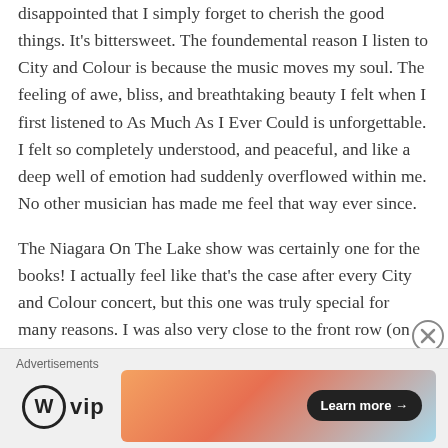disappointed that I simply forget to cherish the good things. It's bittersweet. The foundemental reason I listen to City and Colour is because the music moves my soul. The feeling of awe, bliss, and breathtaking beauty I felt when I first listened to As Much As I Ever Could is unforgettable. I felt so completely understood, and peaceful, and like a deep well of emotion had suddenly overflowed within me. No other musician has made me feel that way ever since.
The Niagara On The Lake show was certainly one for the books! I actually feel like that's the case after every City and Colour concert, but this one was truly special for many reasons. I was also very close to the front row (on the left side of the stage); I'm glad your dad got to
Advertisements
[Figure (logo): WordPress VIP logo with circular W icon and 'vip' text]
[Figure (illustration): Advertisement banner with gradient orange/pink/blue background and a 'Learn more →' button]